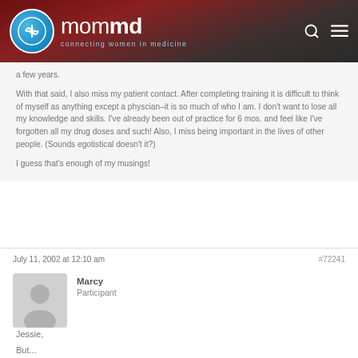mommd - connecting women in medicine
a few years.

With that said, I also miss my patient contact. After completing training it is difficult to think of myself as anything except a physcian–it is so much of who I am. I don't want to lose all my knowledge and skills. I've already been out of practice for 6 mos. and feel like I've forgotten all my drug doses and such! Also, I miss being important in the lives of other people. (Sounds egotistical doesn't it?)

I guess that's enough of my musings!
July 11, 2002 at 12:10 am
#72241
Marcy
Participant
Jessie,
But...